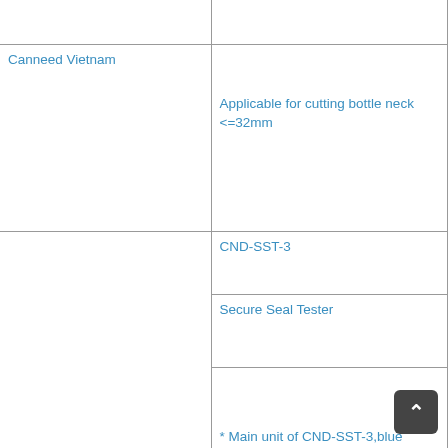|  |  |
| Canneed Vietnam | Applicable for cutting bottle neck <=32mm |
|  | CND-SST-3 |
|  | Secure Seal Tester |
|  | * Main unit of CND-SST-3,blue panel & stand |
|  | column ,high quality pressure valve,includes |